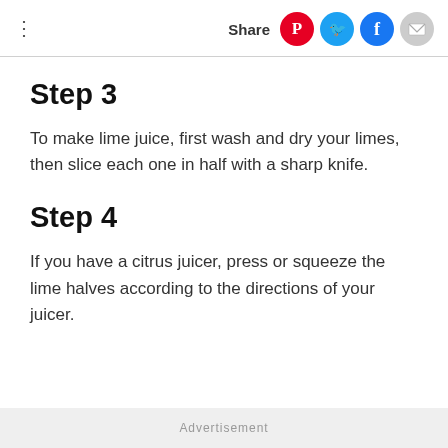Share
Step 3
To make lime juice, first wash and dry your limes, then slice each one in half with a sharp knife.
Step 4
If you have a citrus juicer, press or squeeze the lime halves according to the directions of your juicer.
Advertisement